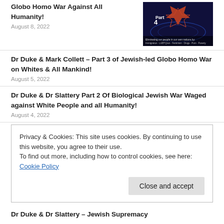Globo Homo War Against All Humanity!
August 8, 2022
Dr Duke & Mark Collett – Part 3 of Jewish-led Globo Homo War on Whites & All Mankind!
August 5, 2022
Dr Duke & Dr Slattery Part 2 Of Biological Jewish War Waged against White People and all Humanity!
August 4, 2022
Privacy & Cookies: This site uses cookies. By continuing to use this website, you agree to their use.
To find out more, including how to control cookies, see here: Cookie Policy
Close and accept
Dr Duke & Dr Slattery – Jewish Supremacy